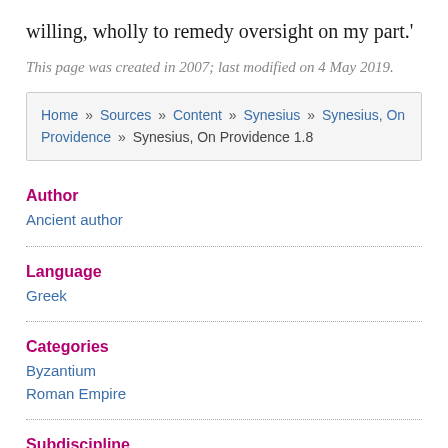willing, wholly to remedy oversight on my part.'
This page was created in 2007; last modified on 4 May 2019.
Home » Sources » Content » Synesius » Synesius, On Providence » Synesius, On Providence 1.8
Author
Ancient author
Language
Greek
Categories
Byzantium
Roman Empire
Subdiscipline